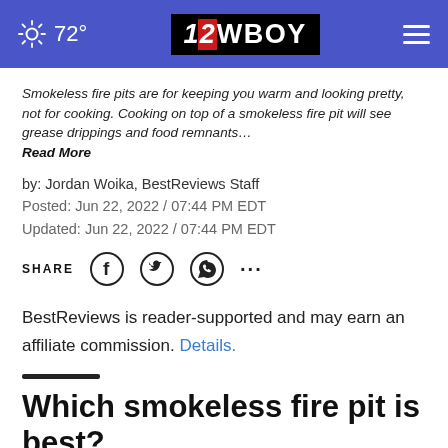72° — 12WBOY
Smokeless fire pits are for keeping you warm and looking pretty, not for cooking. Cooking on top of a smokeless fire pit will see grease drippings and food remnants… Read More
by: Jordan Woika, BestReviews Staff
Posted: Jun 22, 2022 / 07:44 PM EDT
Updated: Jun 22, 2022 / 07:44 PM EDT
SHARE
BestReviews is reader-supported and may earn an affiliate commission. Details.
Which smokeless fire pit is best?